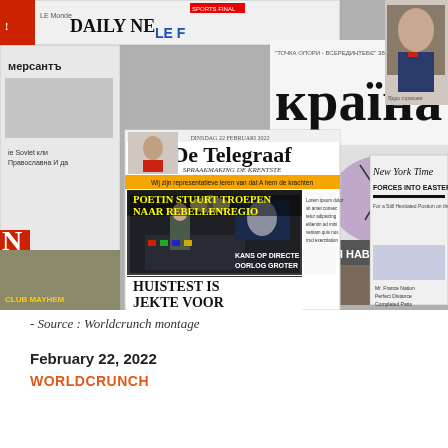[Figure (photo): A montage/collage of newspaper front pages from various international publications including De Telegraaf (Dutch), Daily News, Kraïna (Ukrainian), Kommersant (Russian), New York Times, and others. The De Telegraaf front page is prominent in the center with the headline 'POETIN STUURT TROEPEN NAAR REBELLENREGIO' (Putin sends troops to rebel region) and 'KANS OP DIRECTE OORLOG GROTER' (Chance of direct war greater). Also visible: 'HUISTEST IS JEKTE VOOR', a photo of Putin, and Cyrillic text 'Я НАВКОЛО НСЬКИХ ТЕРИТОРІЙ ЛАСЯ 16'. Various other newspaper layouts visible in the background.]
- Source : Worldcrunch montage
February 22, 2022
WORLDCRUNCH